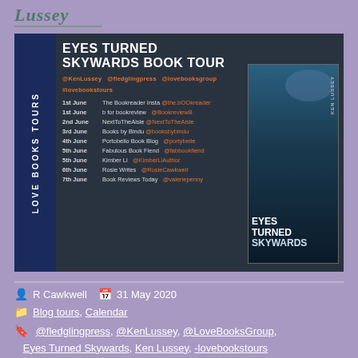Lussey
[Figure (infographic): Love Books Tours banner for Eyes Turned Skywards Book Tour showing a schedule of blog stops from 1st June to 7th June 2020, with social handles @KenLussey @fledglingpress @lovebooksgroup #lovebookstours, and a book cover image on the right side.]
R Cawkwell   31 May 2020
Blog tours, Calendar
@fledglingpress, @KenLussey, @LoveBooksGroup, Eyes Turned Skywards, Ken Lussey, -lovebookstours